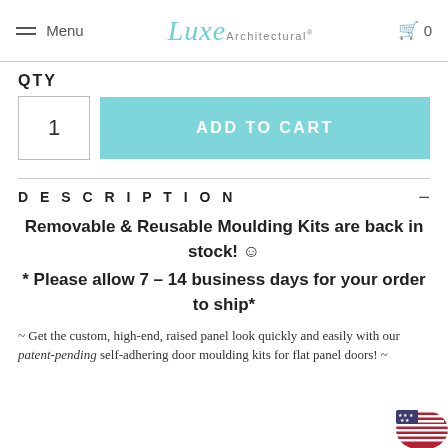Menu | Luxe Architectural | 0
QTY
1  ADD TO CART
DESCRIPTION -
Removable & Reusable Moulding Kits are back in stock! ☺
* Please allow 7 – 14 business days for your order to ship*
~ Get the custom, high-end, raised panel look quickly and easily with our patent-pending self-adhering door moulding kits for flat panel doors! ~
[Figure (illustration): US flag badge in bottom right corner]